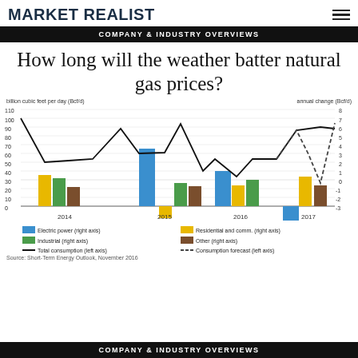MARKET REALIST
COMPANY & INDUSTRY OVERVIEWS
How long will the weather batter natural gas prices?
[Figure (grouped-bar-chart): Natural gas consumption (Bcf/d) with annual change]
Source: Short-Term Energy Outlook, November 2016
COMPANY & INDUSTRY OVERVIEWS